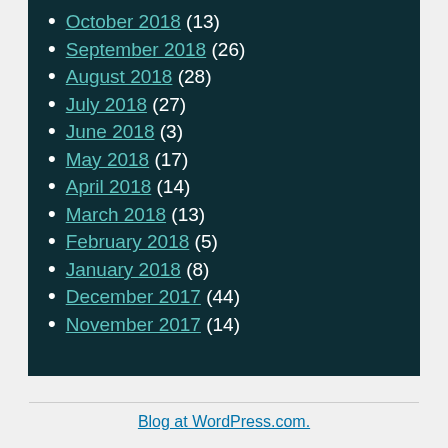October 2018 (13)
September 2018 (26)
August 2018 (28)
July 2018 (27)
June 2018 (3)
May 2018 (17)
April 2018 (14)
March 2018 (13)
February 2018 (5)
January 2018 (8)
December 2017 (44)
November 2017 (14)
Blog at WordPress.com.